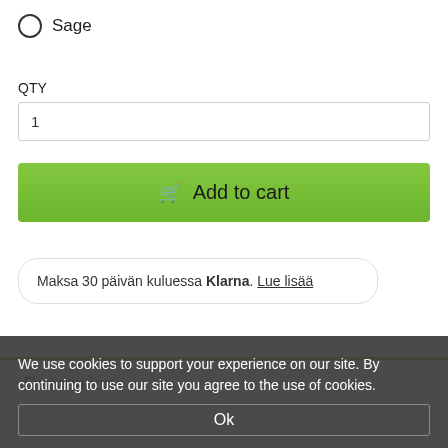○ Sage
QTY
1
🛒 Add to cart
Maksa 30 päivän kuluessa Klarna. Lue lisää
Description
We use cookies to support your experience on our site. By continuing to use our site you agree to the use of cookies.
Ok